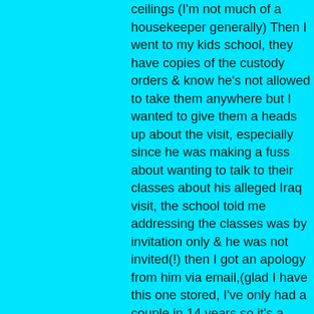ceilings (I'm not much of a housekeeper generally) Then I went to my kids school, they have copies of the custody orders & know he's not allowed to take them anywhere but I wanted to give them a heads up about the visit, especially since he was making a fuss about wanting to talk to their classes about his alleged Iraq visit, the school told me addressing the classes was by invitation only & he was not invited(!) then I got an apology from him via email,(glad I have this one stored, I've only had a couple in 14 years so it's a treasure) he blamed his hateful, mean email on the stress of being in Iraq & then slipped it in that he or they are coming almost 2 weeks earlier than he originally said. Now he can't even give me a date for sure. maybe arount the 13th, maybe closer to the 17-18. He's just not sure, I really have my doubts that the military does things this haphazardly. I realize that they might make leaves a little random but it seems that since we're talking about less than 14 days notice for a supposed 15 day